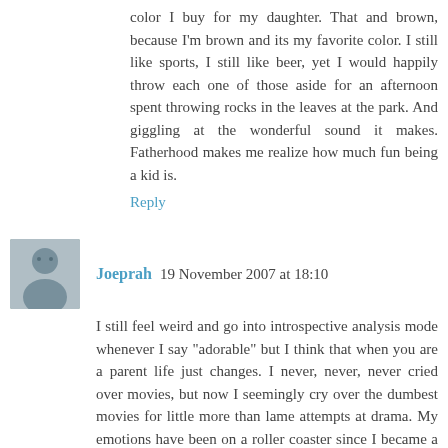color I buy for my daughter. That and brown, because I'm brown and its my favorite color. I still like sports, I still like beer, yet I would happily throw each one of those aside for an afternoon spent throwing rocks in the leaves at the park. And giggling at the wonderful sound it makes. Fatherhood makes me realize how much fun being a kid is.
Reply
Joeprah  19 November 2007 at 18:10
I still feel weird and go into introspective analysis mode whenever I say "adorable" but I think that when you are a parent life just changes. I never, never, never cried over movies, but now I seemingly cry over the dumbest movies for little more than lame attempts at drama. My emotions have been on a roller coaster since I became a dad and coming to grips with those new emotions is part of the game. Cool post bro.
Reply
Martin  20 November 2007 at 18:22